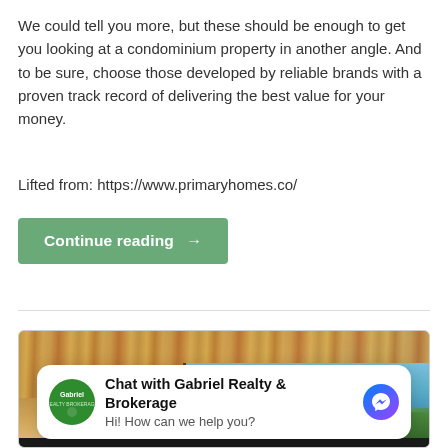We could tell you more, but these should be enough to get you looking at a condominium property in another angle. And to be sure, choose those developed by reliable brands with a proven track record of delivering the best value for your money.
Lifted from: https://www.primaryhomes.co/
Continue reading →
[Figure (photo): Interior photo of a modern condominium showing wooden ceiling panels and large glass windows with a view of trees and blue sky.]
Chat with Gabriel Realty & Brokerage
Hi! How can we help you?